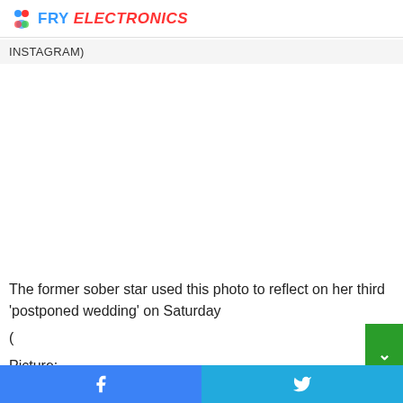FRY ELECTRONICS
INSTAGRAM)
The former sober star used this photo to reflect on her third 'postponed wedding' on Saturday
(
Picture:
Facebook Twitter social share buttons